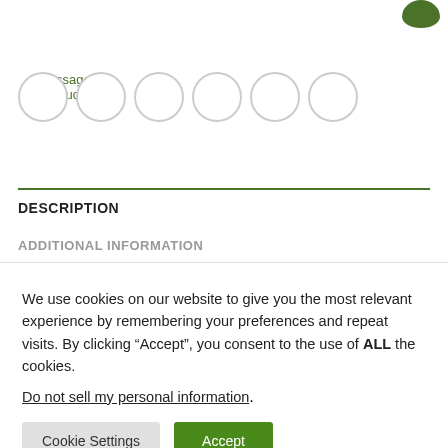[Figure (logo): Partial green circular logo/button at top right corner]
Massage Products
[Figure (illustration): Six empty gray-outlined circles in a row, representing social media icon placeholders]
DESCRIPTION
ADDITIONAL INFORMATION
We use cookies on our website to give you the most relevant experience by remembering your preferences and repeat visits. By clicking “Accept”, you consent to the use of ALL the cookies.
Do not sell my personal information.
Cookie Settings
Accept